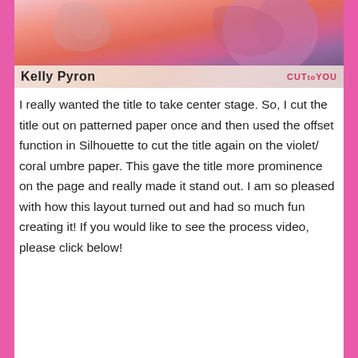[Figure (photo): Top banner image showing Kelly Pyron with colorful floral/watercolor artwork background. A horizontal overlay bar at the bottom shows 'Kelly Pyron' in bold and 'CUT to YOU' branding on the right.]
I really wanted the title to take center stage. So, I cut the title out on patterned paper once and then used the offset function in Silhouette to cut the title again on the violet/ coral umbre paper. This gave the title more prominence on the page and really made it stand out. I am so pleased with how this layout turned out and had so much fun creating it! If you would like to see the process video, please click below!
[Figure (screenshot): YouTube video thumbnail showing 'Choose Happy | Scrapbook P...' with Kelly Pyron Designs logo circle on the left, a YouTube play button in the center, and a scrapbook page on the right. The video is by Kelly Pyron Designs.]